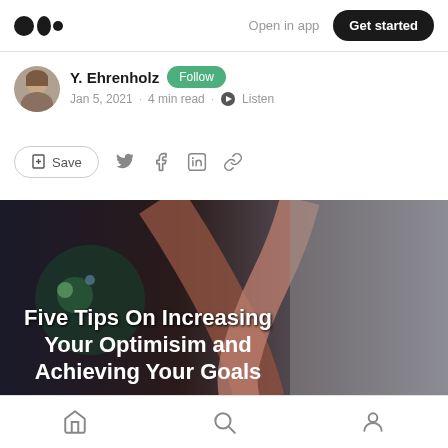Medium logo | Open in app | Get started
Y. Ehrenholz  Follow
Jan 5, 2021 · 4 min read · Listen
Save (share icons: Twitter, Facebook, LinkedIn, link)
[Figure (photo): Hero image with two hands reaching toward each other against a dark background, with title text overlay: 'Five Tips On Increasing Your Optimisim and Achieving Your Goals']
Home | Search | Profile (bottom navigation)